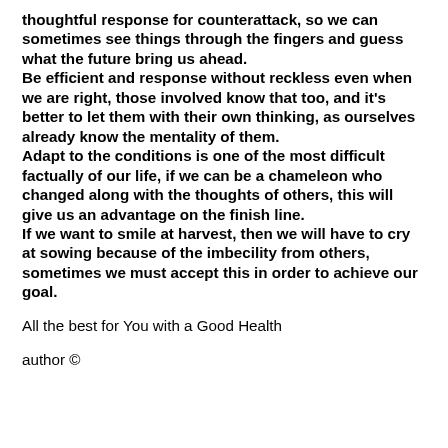thoughtful response for counterattack, so we can sometimes see things through the fingers and guess what the future bring us ahead. Be efficient and response without reckless even when we are right, those involved know that too, and it's better to let them with their own thinking, as ourselves already know the mentality of them. Adapt to the conditions is one of the most difficult factually of our life, if we can be a chameleon who changed along with the thoughts of others, this will give us an advantage on the finish line. If we want to smile at harvest, then we will have to cry at sowing because of the imbecility from others, sometimes we must accept this in order to achieve our goal.
All the best for You with a Good Health
author ©